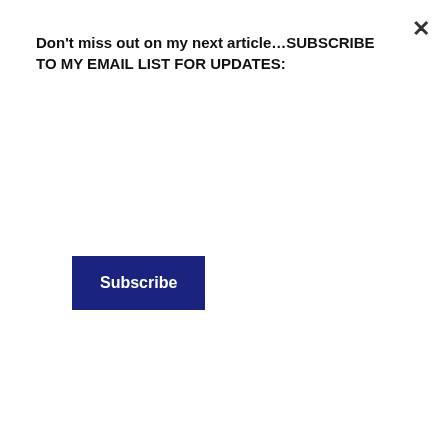[Figure (photo): Partial view of a white Toyota vehicle showing the Toyota logo/badge on the front grille area, with car body panels visible]
Don't miss out on my next article…SUBSCRIBE TO MY EMAIL LIST FOR UPDATES:
Subscribe
ThoughtOnBoard™, the only dry-erase board that sticks inside a window facing out. Great for offices, homes, cars, trucks, schools, businesses large or small. Great gifts. Small and large sizes available. See & buy at ThoughtOnBoard.com